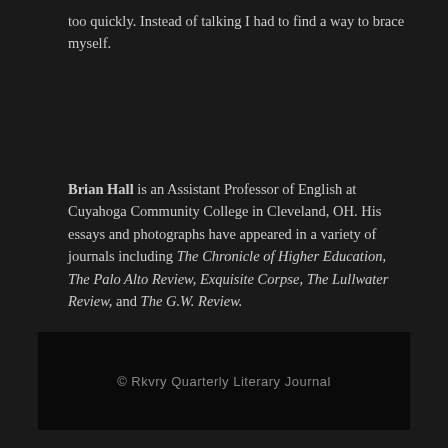too quickly. Instead of talking I had to find a way to brace myself.
Brian Hall is an Assistant Professor of English at Cuyahoga Community College in Cleveland, OH. His essays and photographs have appeared in a variety of journals including The Chronicle of Higher Education, The Palo Alto Review, Exquisite Corpse, The Lullwater Review, and The G.W. Review.
© Rkvry Quarterly Literary Journal